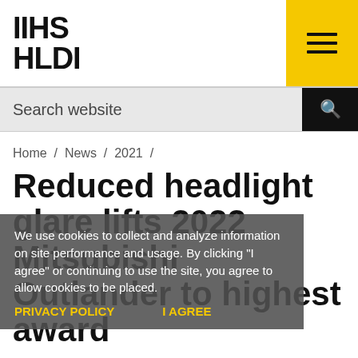IIHS HLDI
Search website
Home / News / 2021 /
Reduced headlight glare lifts 2022 Mitsubishi Outlander to highest award
We use cookies to collect and analyze information on site performance and usage. By clicking "I agree" or continuing to use the site, you agree to allow cookies to be placed.
The standard LED reflector headlights supplied with the small SUV now earn a good rating.
September 7, 2021